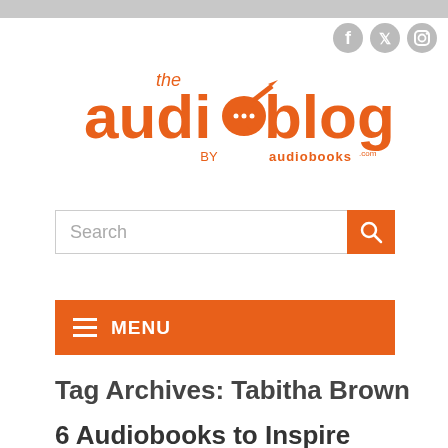[Figure (logo): The Audio Blog by Audiobooks.com logo in orange]
[Figure (illustration): Social media icons: Facebook, Twitter, Instagram in gray]
Search
MENU
Tag Archives: Tabitha Brown
6 Audiobooks to Inspire